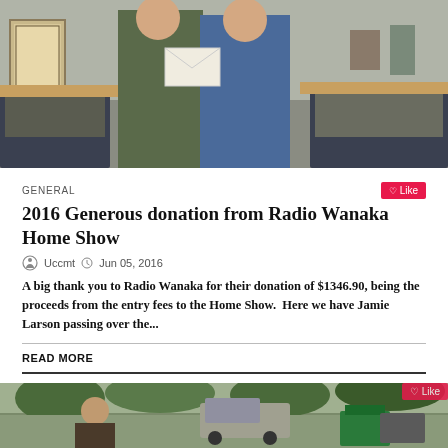[Figure (photo): Two people standing in an office, one handing an envelope to the other. Office furniture and framed certificate visible in the background.]
GENERAL
2016 Generous donation from Radio Wanaka Home Show
Uccmt  Jun 05, 2016
A big thank you to Radio Wanaka for their donation of $1346.90, being the proceeds from the entry fees to the Home Show.  Here we have Jamie Larson passing over the...
READ MORE
[Figure (photo): Outdoor scene showing a person holding a sign, with a vehicle and greenery in the background.]